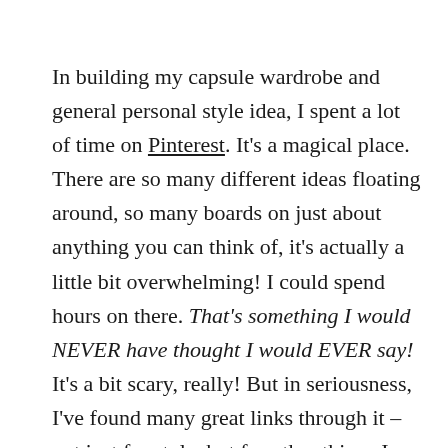In building my capsule wardrobe and general personal style idea, I spent a lot of time on Pinterest. It's a magical place. There are so many different ideas floating around, so many boards on just about anything you can think of, it's actually a little bit overwhelming! I could spend hours on there. That's something I would NEVER have thought I would EVER say! It's a bit scary, really! But in seriousness, I've found many great links through it – not just for style, but for other things I am interested in as well. Plus, I use it extensively